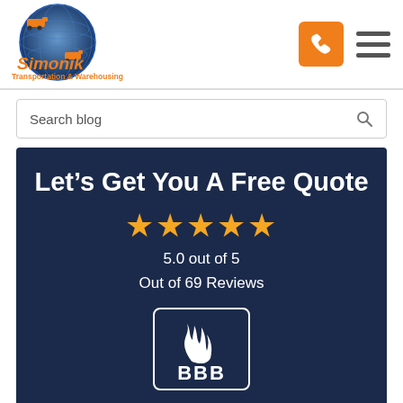[Figure (logo): Simonik Transportation & Warehousing globe logo with trucks]
[Figure (infographic): Orange phone button and hamburger menu icon in header]
Search blog
Let’s Get You A Free Quote
5.0 out of 5
Out of 69 Reviews
[Figure (logo): BBB Better Business Bureau badge with flame logo]
FREE QUOTE